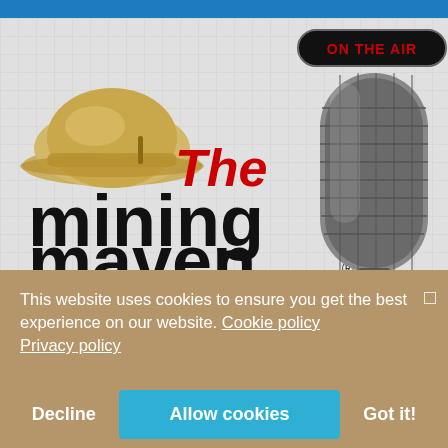[Figure (logo): The Mining Maven podcast logo: a miner's hard hat on the left, bold black text reading 'mining maven' below red italic 'The', and a vintage microphone on the right with an 'ON THE AIR' banner on top. Background is a light gray grid pattern.]
This website uses cookies to ensure you get the best experience on our website. Cookie policy
Privacy policy
Decline | Allow cookies | Got it!